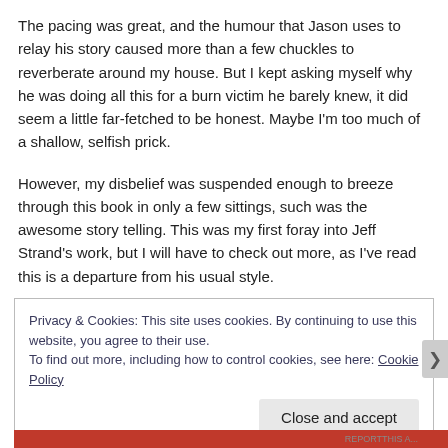The pacing was great, and the humour that Jason uses to relay his story caused more than a few chuckles to reverberate around my house. But I kept asking myself why he was doing all this for a burn victim he barely knew, it did seem a little far-fetched to be honest. Maybe I'm too much of a shallow, selfish prick.
However, my disbelief was suspended enough to breeze through this book in only a few sittings, such was the awesome story telling. This was my first foray into Jeff Strand's work, but I will have to check out more, as I've read this is a departure from his usual style.
So if you're a fan of horror who fancies reading something a little more romantic, but without having to go full-on mush, this novel is a decent one to plump for!
Privacy & Cookies: This site uses cookies. By continuing to use this website, you agree to their use.
To find out more, including how to control cookies, see here: Cookie Policy
Close and accept